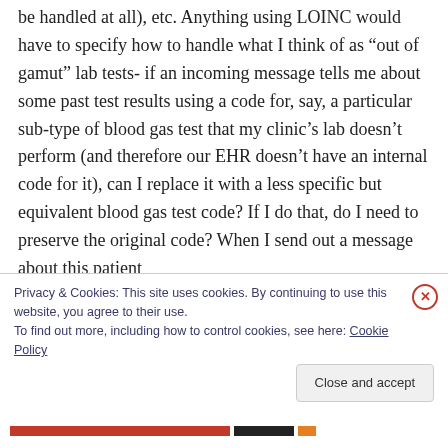be handled at all), etc. Anything using LOINC would have to specify how to handle what I think of as “out of gamut” lab tests- if an incoming message tells me about some past test results using a code for, say, a particular sub-type of blood gas test that my clinic’s lab doesn’t perform (and therefore our EHR doesn’t have an internal code for it), can I replace it with a less specific but equivalent blood gas test code? If I do that, do I need to preserve the original code? When I send out a message about this patient
Privacy & Cookies: This site uses cookies. By continuing to use this website, you agree to their use.
To find out more, including how to control cookies, see here: Cookie Policy
Close and accept